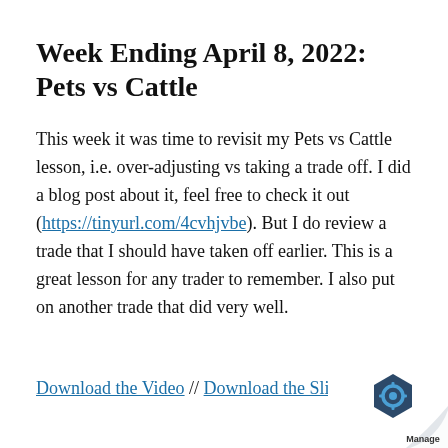Week Ending April 8, 2022: Pets vs Cattle
This week it was time to revisit my Pets vs Cattle lesson, i.e. over-adjusting vs taking a trade off. I did a blog post about it, feel free to check it out (https://tinyurl.com/4cvhjvbe). But I do review a trade that I should have taken off earlier. This is a great lesson for any trader to remember. I also put on another trade that did very well.
Download the Video // Download the Slid